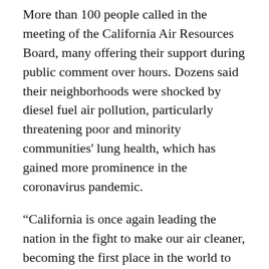More than 100 people called in the meeting of the California Air Resources Board, many offering their support during public comment over hours. Dozens said their neighborhoods were shocked by diesel fuel air pollution, particularly threatening poor and minority communities' lung health, which has gained more prominence in the coronavirus pandemic.
“California is once again leading the nation in the fight to make our air cleaner, becoming the first place in the world to mandate zero emission trucks by 2045,” Gov. Gavin Newsom said in a statement. “Communities and children of color are often forced to breathe